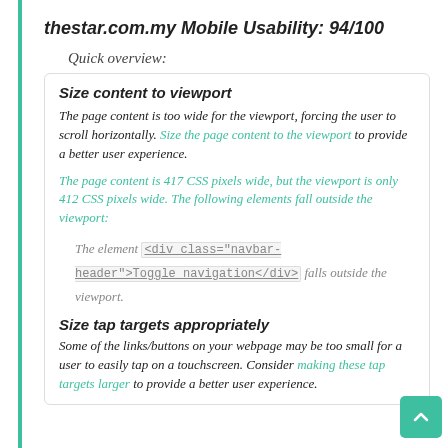thestar.com.my Mobile Usability: 94/100
Quick overview:
Size content to viewport
The page content is too wide for the viewport, forcing the user to scroll horizontally. Size the page content to the viewport to provide a better user experience.
The page content is 417 CSS pixels wide, but the viewport is only 412 CSS pixels wide. The following elements fall outside the viewport:
The element <div class="navbar-header">Toggle navigation</div> falls outside the viewport.
Size tap targets appropriately
Some of the links/buttons on your webpage may be too small for a user to easily tap on a touchscreen. Consider making these tap targets larger to provide a better user experience.